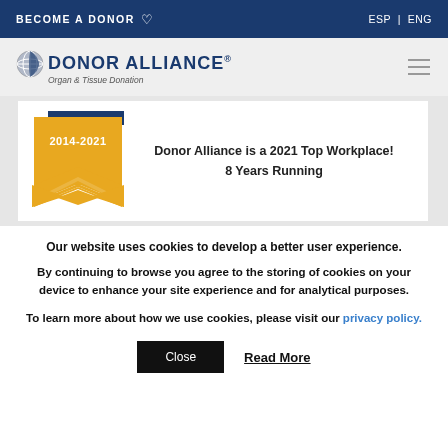BECOME A DONOR ♡    ESP | ENG
[Figure (logo): Donor Alliance logo with globe icon, text 'DONOR ALLIANCE® Organ & Tissue Donation']
[Figure (infographic): Award badge: gold ribbon shape with '2014-2021', dark blue bar, text 'Donor Alliance is a 2021 Top Workplace! 8 Years Running']
Our website uses cookies to develop a better user experience.
By continuing to browse you agree to the storing of cookies on your device to enhance your site experience and for analytical purposes.
To learn more about how we use cookies, please visit our privacy policy.
Close   Read More